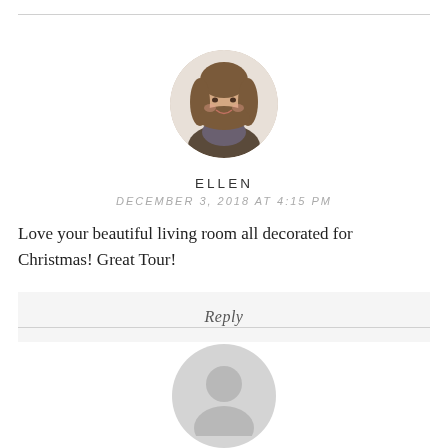[Figure (photo): Circular avatar photo of a woman named Ellen with long brown hair, smiling, wearing a patterned scarf]
ELLEN
DECEMBER 3, 2018 AT 4:15 PM
Love your beautiful living room all decorated for Christmas! Great Tour!
Reply
[Figure (illustration): Circular generic user avatar icon in light gray, partially visible at bottom of page]